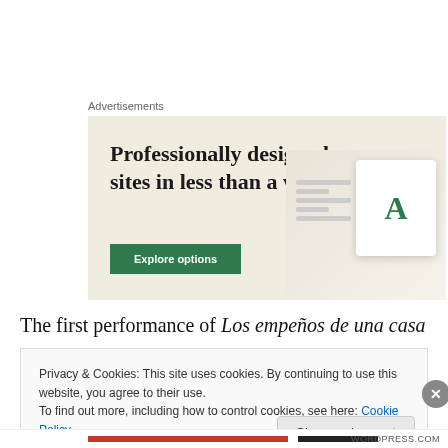Advertisements
[Figure (illustration): Advertisement banner with beige background showing 'Professionally designed sites in less than a week' with a green 'Explore options' button and device mockup images on the right.]
The first performance of Los empeños de una casa took
Privacy & Cookies: This site uses cookies. By continuing to use this website, you agree to their use.
To find out more, including how to control cookies, see here: Cookie Policy